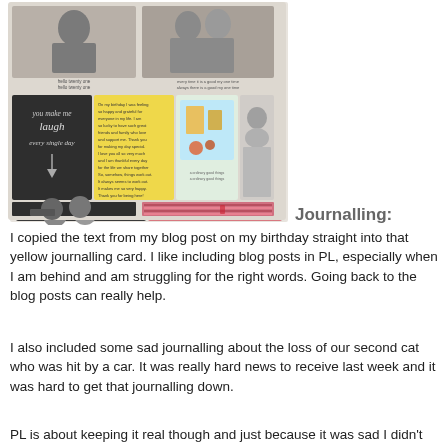[Figure (photo): A scrapbook/Project Life layout collage showing multiple photos and journalling cards: top row has two portrait photos with handwritten captions, middle row has a chalkboard card with 'you make me laugh every single day', a yellow handwritten journalling card, a colorful illustrated card, and a black-and-white photo of two women, bottom row has a black-and-white selfie of a couple and a close-up photo of pink/red fabric or yarn.]
Journalling:
I copied the text from my blog post on my birthday straight into that yellow journalling card. I like including blog posts in PL, especially when I am behind and am struggling for the right words. Going back to the blog posts can really help.
I also included some sad journalling about the loss of our second cat who was hit by a car. It was really hard news to receive last week and it was hard to get that journalling down.
PL is about keeping it real though and just because it was sad I didn't want to leave it out. Life is yuck sometimes and I